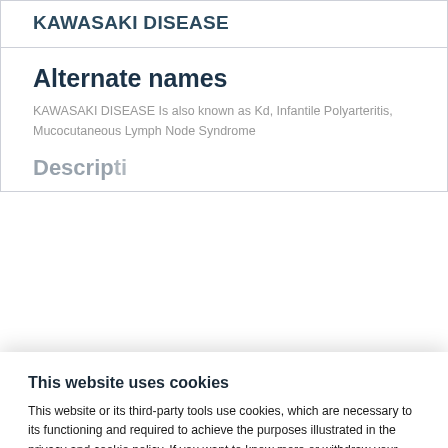KAWASAKI DISEASE
Alternate names
KAWASAKI DISEASE Is also known as Kd, Infantile Polyarteritis, Mucocutaneous Lymph Node Syndrome
Description
This website uses cookies
This website or its third-party tools use cookies, which are necessary to its functioning and required to achieve the purposes illustrated in the privacy and cookie policy. If you want to know more or withdraw your consent to all or some of the cookies, please click on Preferences.
Accept all
Preferences